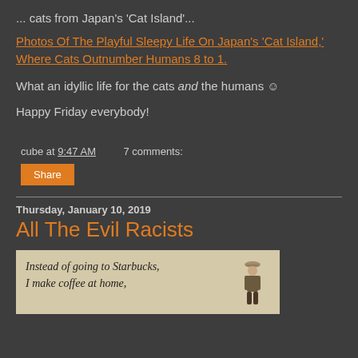... cats from Japan's 'Cat Island'...
Photos Of The Playful Sleepy Life On Japan's 'Cat Island,' Where Cats Outnumber Humans 8 to 1.
What an idyllic life for the cats and the humans ☺
Happy Friday everybody!
cube at 9:47 AM    7 comments:
Share
Thursday, January 10, 2019
All The Evil Racists
[Figure (illustration): Meme image on a tan/beige background with italic text reading 'Instead of going to Starbucks, I make coffee at home,' alongside an illustration of a person in old-fashioned attire with a hat.]